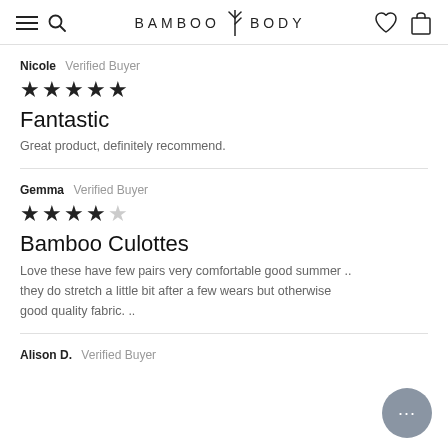BAMBOO BODY
Nicole  Verified Buyer
★★★★★
Fantastic
Great product, definitely recommend.
Gemma  Verified Buyer
★★★★☆
Bamboo Culottes
Love these have few pairs very comfortable good summer .. they do stretch a little bit after a few wears but otherwise good quality fabric. ..
Alison D.  Verified Buyer